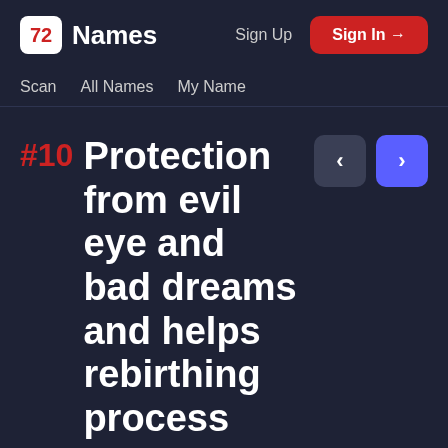72 Names | Sign Up | Sign In →
Scan | All Names | My Name
#10 Protection from evil eye and bad dreams and helps rebirthing process
Protecting yourself from the evil-eye